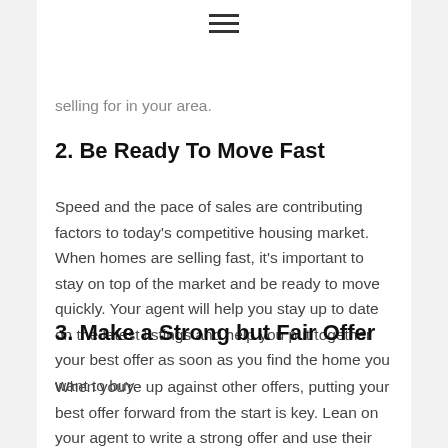selling for in your area.
2. Be Ready To Move Fast
Speed and the pace of sales are contributing factors to today's competitive housing market. When homes are selling fast, it's important to stay on top of the market and be ready to move quickly. Your agent will help you stay up to date on the latest listings and help you put together your best offer as soon as you find the home you want to buy.
3. Make a Strong but Fair Offer
When you're up against other offers, putting your best offer forward from the start is key. Lean on your agent to write a strong offer and use their expertise on which